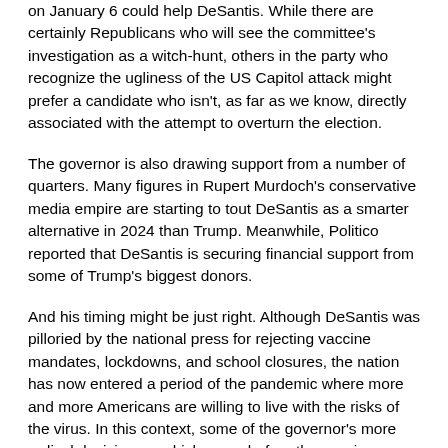on January 6 could help DeSantis. While there are certainly Republicans who will see the committee's investigation as a witch-hunt, others in the party who recognize the ugliness of the US Capitol attack might prefer a candidate who isn't, as far as we know, directly associated with the attempt to overturn the election.
The governor is also drawing support from a number of quarters. Many figures in Rupert Murdoch's conservative media empire are starting to tout DeSantis as a smarter alternative in 2024 than Trump. Meanwhile, Politico reported that DeSantis is securing financial support from some of Trump's biggest donors.
And his timing might be just right. Although DeSantis was pilloried by the national press for rejecting vaccine mandates, lockdowns, and school closures, the nation has now entered a period of the pandemic where more and more Americans are willing to live with the risks of the virus. In this context, some of the governor's more radical decisions -- which came before the vaccines were widely available -- could now appear less so.
Of course, Trump could burst the DeSantis bubble if he officially announces his reelection bid. Trump is likely to command so much media attention and generate such